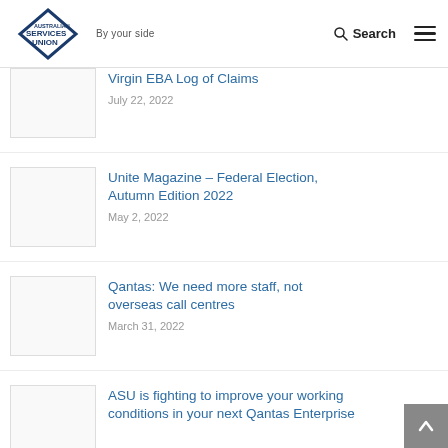Australian Services Union – By your side | Search
Virgin EBA Log of Claims
July 22, 2022
Unite Magazine – Federal Election, Autumn Edition 2022
May 2, 2022
Qantas: We need more staff, not overseas call centres
March 31, 2022
ASU is fighting to improve your working conditions in your next Qantas Enterprise